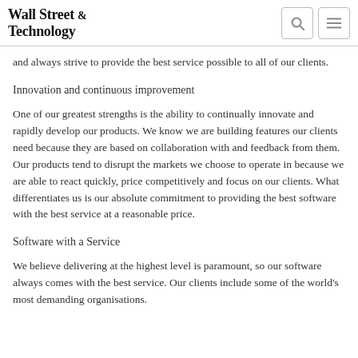Wall Street & Technology
and always strive to provide the best service possible to all of our clients.
Innovation and continuous improvement
One of our greatest strengths is the ability to continually innovate and rapidly develop our products. We know we are building features our clients need because they are based on collaboration with and feedback from them. Our products tend to disrupt the markets we choose to operate in because we are able to react quickly, price competitively and focus on our clients. What differentiates us is our absolute commitment to providing the best software with the best service at a reasonable price.
Software with a Service
We believe delivering at the highest level is paramount, so our software always comes with the best service. Our clients include some of the world's most demanding organisations.